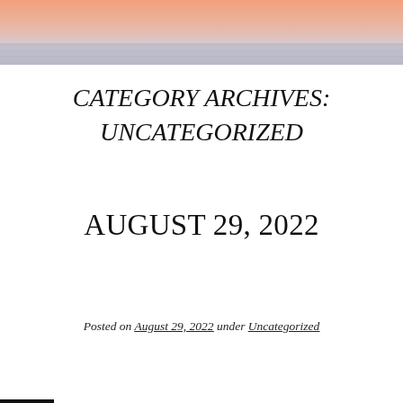[Figure (photo): Sunset/sunrise over ocean horizon with peachy pink sky and calm water]
CATEGORY ARCHIVES: UNCATEGORIZED
AUGUST 29, 2022
Posted on August 29, 2022 under Uncategorized